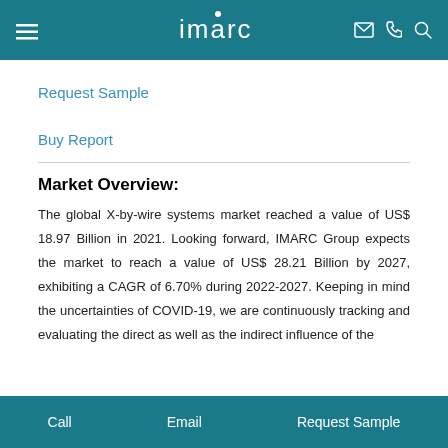imarc
Request Sample
Buy Report
Market Overview:
The global X-by-wire systems market reached a value of US$ 18.97 Billion in 2021. Looking forward, IMARC Group expects the market to reach a value of US$ 28.21 Billion by 2027, exhibiting a CAGR of 6.70% during 2022-2027. Keeping in mind the uncertainties of COVID-19, we are continuously tracking and evaluating the direct as well as the indirect influence of the
Call   Email   Request Sample